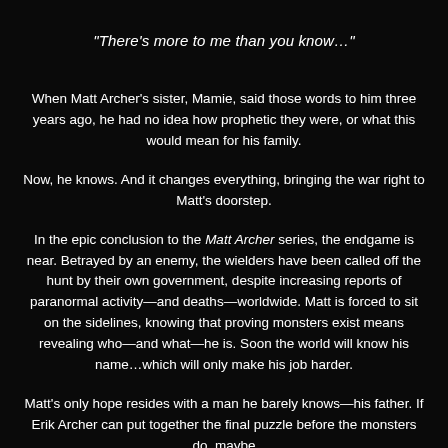"There's more to me than you know…"
When Matt Archer's sister, Mamie, said those words to him three years ago, he had no idea how prophetic they were, or what this would mean for his family.
Now, he knows. And it changes everything, bringing the war right to Matt's doorstep.
In the epic conclusion to the Matt Archer series, the endgame is near. Betrayed by an enemy, the wielders have been called off the hunt by their own government, despite increasing reports of paranormal activity—and deaths—worldwide. Matt is forced to sit on the sidelines, knowing that proving monsters exist means revealing who—and what—he is. Soon the world will know his name…which will only make his job harder.
Matt's only hope resides with a man he barely knows—his father. If Erik Archer can put together the final puzzle before the monsters do, maybe they'll be safe. Maybe Matt can...